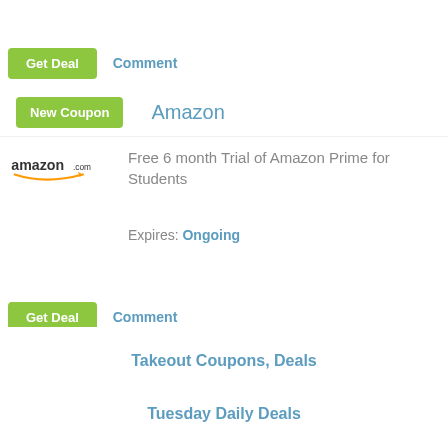Get Deal
Comment
New Coupon
Amazon
[Figure (logo): amazon.com logo with orange arrow]
Free 6 month Trial of Amazon Prime for Students
Expires: Ongoing
Get Deal
Comment
Takeout Coupons, Deals
Tuesday Daily Deals